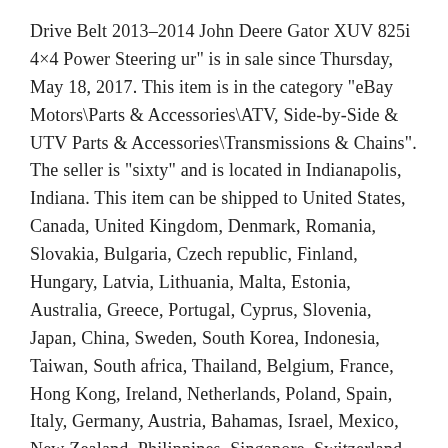Drive Belt 2013–2014 John Deere Gator XUV 825i 4×4 Power Steering ur" is in sale since Thursday, May 18, 2017. This item is in the category "eBay Motors\Parts & Accessories\ATV, Side-by-Side & UTV Parts & Accessories\Transmissions & Chains". The seller is "sixty" and is located in Indianapolis, Indiana. This item can be shipped to United States, Canada, United Kingdom, Denmark, Romania, Slovakia, Bulgaria, Czech republic, Finland, Hungary, Latvia, Lithuania, Malta, Estonia, Australia, Greece, Portugal, Cyprus, Slovenia, Japan, China, Sweden, South Korea, Indonesia, Taiwan, South africa, Thailand, Belgium, France, Hong Kong, Ireland, Netherlands, Poland, Spain, Italy, Germany, Austria, Bahamas, Israel, Mexico, New Zealand, Philippines, Singapore, Switzerland, Norway, Saudi arabia, Ukraine, United arab emirates, Qatar, Kuwait, Bahrain, Croatia, Malaysia, Brazil, Chile, Colombia, Costa rica, Dominican republic, Panama, Trinidad and tobago, Guatemala, El salvador, Honduras, Jamaica, Viet nam.
Brand: Gates